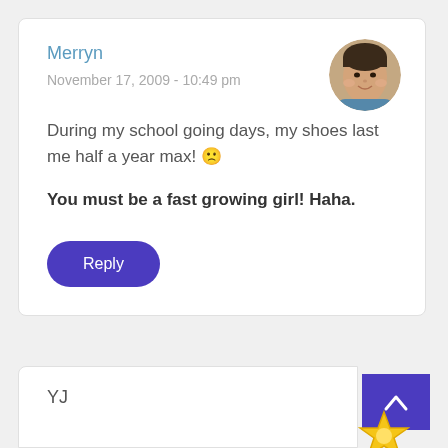Merryn
November 17, 2009 - 10:49 pm
[Figure (photo): Circular avatar photo of a young child smiling]
During my school going days, my shoes last me half a year max! 🙁
You must be a fast growing girl! Haha.
Reply
YJ
[Figure (photo): Partial star/badge icon at bottom right of second comment card]